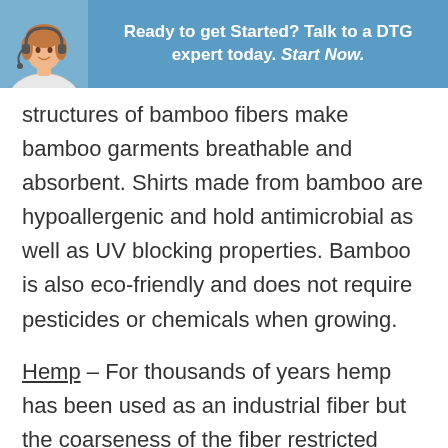[Figure (infographic): Blue banner with a woman wearing a headset on the left and text 'Ready to get Started? Talk to a DTG expert today. Start Now.' on the right]
structures of bamboo fibers make bamboo garments breathable and absorbent. Shirts made from bamboo are hypoallergenic and hold antimicrobial as well as UV blocking properties. Bamboo is also eco-friendly and does not require pesticides or chemicals when growing.
Hemp – For thousands of years hemp has been used as an industrial fiber but the coarseness of the fiber restricted hemp from apparel uses.  In the mid 80's scientist discovered a way